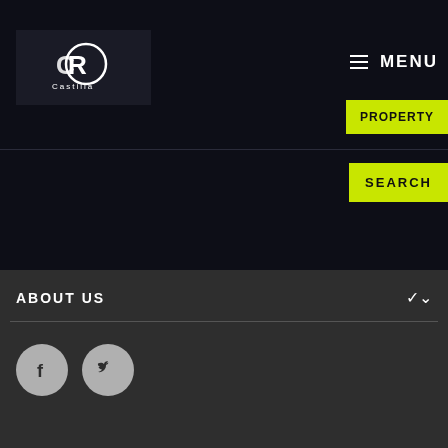[Figure (logo): CR Castilla real estate agency logo — stylized CR monogram in white on dark background]
MENU
PROPERTY
SEARCH
ABOUT US
[Figure (illustration): Facebook and Twitter social media icon circles in grey]